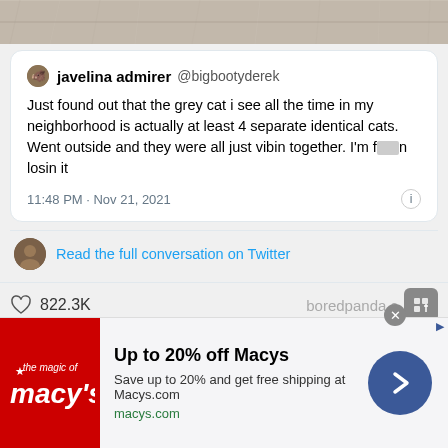[Figure (photo): Top portion of an image showing a wooden floor/surface texture in light grey/tan tones]
javelina admirer @bigbootyderek
Just found out that the grey cat i see all the time in my neighborhood is actually at least 4 separate identical cats. Went outside and they were all just vibin together. I'm f*** n losin it
11:48 PM · Nov 21, 2021
Read the full conversation on Twitter
822.3K   boredpanda.com
bigbootyderek   Report
Final score:456
Add a comment   POST
[Figure (screenshot): Advertisement banner for Macys showing red Macys logo, 'Up to 20% off Macys', 'Save up to 20% and get free shipping at Macys.com', macys.com URL, and a blue circle arrow button]